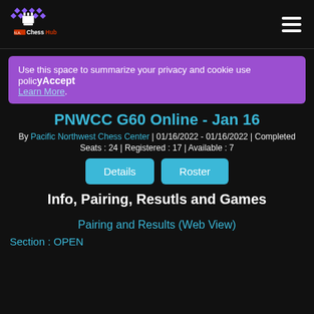N.A. ChessHub logo and navigation
Use this space to summarize your privacy and cookie use policy Accept Learn More.
PNWCC G60 Online - Jan 16
By Pacific Northwest Chess Center | 01/16/2022 - 01/16/2022 | Completed
Seats : 24 | Registered : 17 | Available : 7
Details  Roster
Info, Pairing, Resutls and Games
Pairing and Results (Web View)
Section : OPEN